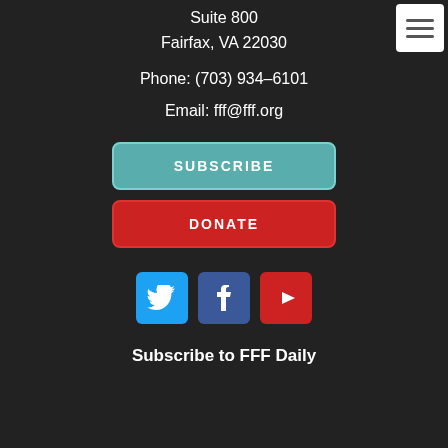Suite 800
Fairfax, VA 22030
Phone: (703) 934-6101
Email: fff@fff.org
SUBSCRIBE
DONATE
[Figure (infographic): Social media icons: Twitter (blue bird), Facebook (blue f), YouTube (red play button)]
Subscribe to FFF Daily